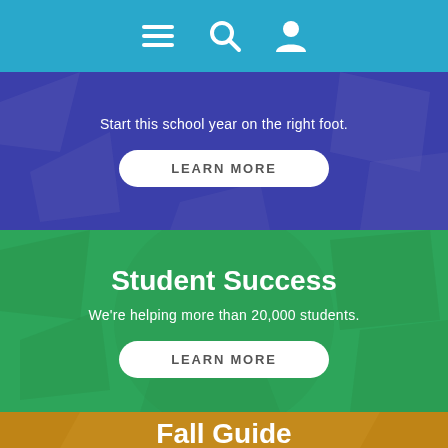[Figure (screenshot): Navigation bar with hamburger menu icon, search icon, and user/profile icon on a teal/cyan background]
Start this school year on the right foot.
LEARN MORE
Student Success
We're helping more than 20,000 students.
LEARN MORE
Fall Guide